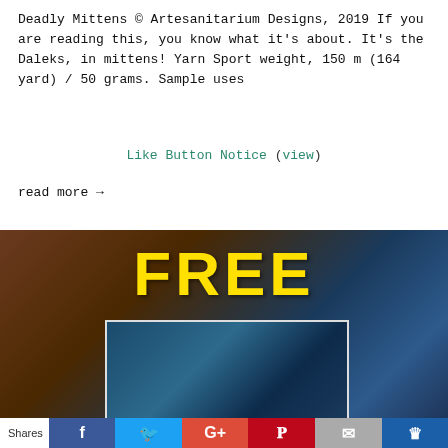Deadly Mittens © Artesanitarium Designs, 2019 If you are reading this, you know what it's about. It's the Daleks, in mittens! Yarn Sport weight, 150 m (164 yard) / 50 grams. Sample uses
Like Button Notice (view)
read more →
[Figure (photo): A photo showing large yellow 'FREE' text on a dark background with blue elements, and an overlapping inner image of blue knitted mittens. A dark privacy preferences overlay bar appears at the bottom with an 'I Agree' button and a close (×) button.]
Shares [Facebook] [Twitter] [Google+] [Pinterest] [Email] [Crown]